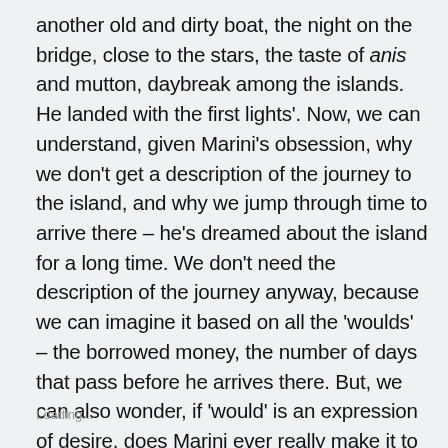another old and dirty boat, the night on the bridge, close to the stars, the taste of anis and mutton, daybreak among the islands. He landed with the first lights'. Now, we can understand, given Marini's obsession, why we don't get a description of the journey to the island, and why we jump through time to arrive there – he's dreamed about the island for a long time. We don't need the description of the journey anyway, because we can imagine it based on all the 'woulds' – the borrowed money, the number of days that pass before he arrives there. But, we can also wonder, if 'would' is an expression of desire, does Marini ever really make it to the island?
Loading...